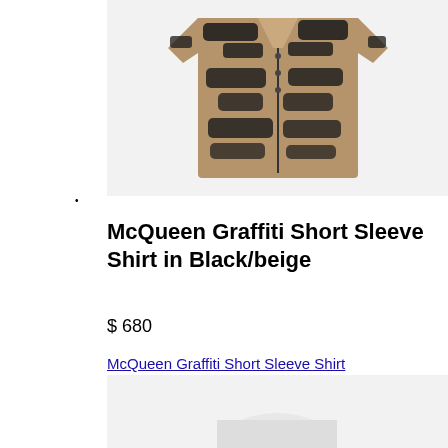[Figure (photo): McQueen Graffiti Short Sleeve Shirt in Black/beige product photo showing the shirt with black and beige graffiti pattern]
•
McQueen Graffiti Short Sleeve Shirt in Black/beige
$ 680
McQueen Graffiti Short Sleeve Shirt
[Figure (photo): Second product image of McQueen Graffiti Short Sleeve Shirt, partially visible at bottom]